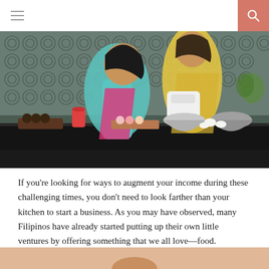[Figure (photo): Two people, a child and a young woman wearing aprons, baking together in a kitchen with a stand mixer. Baked goods, cupcakes, and decorations are on the counter.]
If you're looking for ways to augment your income during these challenging times, you don't need to look farther than your kitchen to start a business. As you may have observed, many Filipinos have already started putting up their own little ventures by offering something that we all love—food.
[Figure (photo): Partial view of a person against a light peach/orange background — cropped at bottom of page.]